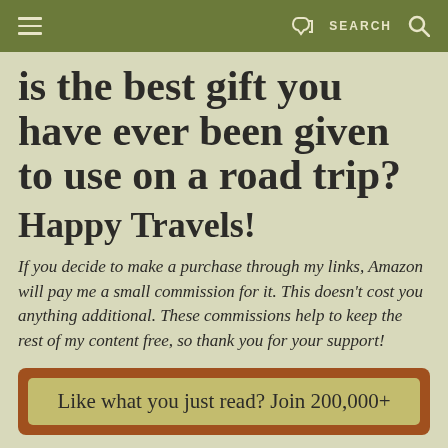≡  [share icon]  SEARCH  🔍
is the best gift you have ever been given to use on a road trip?
Happy Travels!
If you decide to make a purchase through my links, Amazon will pay me a small commission for it. This doesn't cost you anything additional. These commissions help to keep the rest of my content free, so thank you for your support!
Like what you just read? Join 200,000+